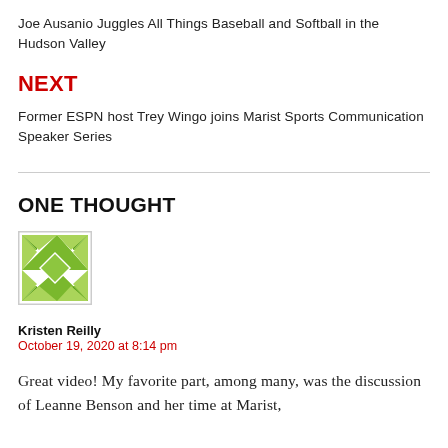Joe Ausanio Juggles All Things Baseball and Softball in the Hudson Valley
NEXT
Former ESPN host Trey Wingo joins Marist Sports Communication Speaker Series
[Figure (illustration): Green quilt-pattern avatar image for commenter Kristen Reilly]
Kristen Reilly
October 19, 2020 at 8:14 pm
Great video! My favorite part, among many, was the discussion of Leanne Benson and her time at Marist,